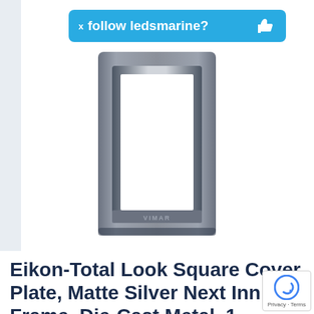[Figure (photo): A Vimar Eikon-Total Look Square Cover Plate in Matte Silver, showing a rectangular metallic frame plate with a centered rectangular cutout and 'VIMAR' text embossed at the bottom center. The plate has a dark charcoal metallic finish with an inner chrome-like inset border.]
follow ledsmarine?
Eikon-Total Look Square Cover Plate, Matte Silver Next Inn Frame, Die-Cast Metal, 1